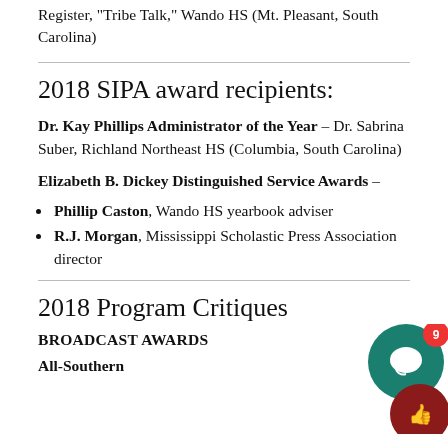Register, "Tribe Talk," Wando HS (Mt. Pleasant, South Carolina)
2018 SIPA award recipients:
Dr. Kay Phillips Administrator of the Year – Dr. Sabrina Suber, Richland Northeast HS (Columbia, South Carolina)
Elizabeth B. Dickey Distinguished Service Awards –
Phillip Caston, Wando HS yearbook adviser
R.J. Morgan, Mississippi Scholastic Press Association director
2018 Program Critiques
BROADCAST AWARDS
All-Southern